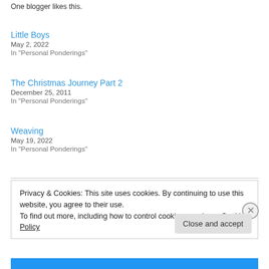One blogger likes this.
Little Boys
May 2, 2022
In "Personal Ponderings"
The Christmas Journey Part 2
December 25, 2011
In "Personal Ponderings"
Weaving
May 19, 2022
In "Personal Ponderings"
Privacy & Cookies: This site uses cookies. By continuing to use this website, you agree to their use.
To find out more, including how to control cookies, see here: Cookie Policy
Close and accept